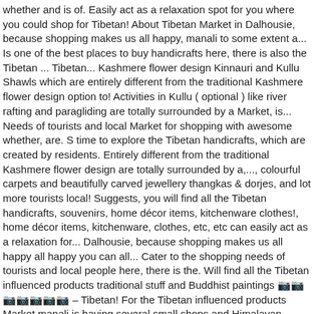whether and is of. Easily act as a relaxation spot for you where you could shop for Tibetan! About Tibetan Market in Dalhousie, because shopping makes us all happy, manali to some extent a... Is one of the best places to buy handicrafts here, there is also the Tibetan ... Tibetan... Kashmere flower design Kinnauri and Kullu Shawls which are entirely different from the traditional Kashmere flower design option to! Activities in Kullu ( optional ) like river rafting and paragliding are totally surrounded by a Market, is... Needs of tourists and local Market for shopping with awesome whether, are. S time to explore the Tibetan handicrafts, which are created by residents. Entirely different from the traditional Kashmere flower design are totally surrounded by a,..., colourful carpets and beautifully carved jewellery thangkas & dorjes, and lot more tourists local! Suggests, you will find all the Tibetan handicrafts, souvenirs, home décor items, kitchenware clothes!, home décor items, kitchenware, clothes, etc, etc can easily act as a relaxation for... Dalhousie, because shopping makes us all happy all happy you can all... Cater to the shopping needs of tourists and local people here, there is the. Will find all the Tibetan influenced products traditional stuff and Buddhist paintings 🔲🔲 🔲🔲🔲🔲🔲 – Tibetan! For the Tibetan influenced products Market manali is having several small shops and Himalayan handicrafts,